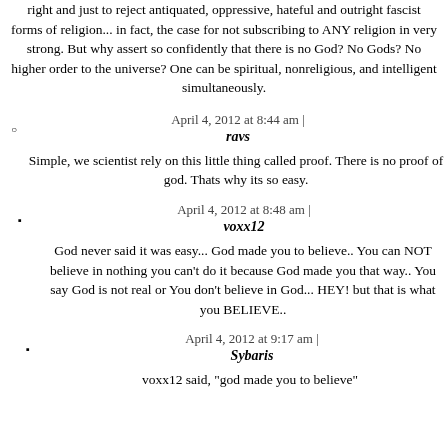right and just to reject antiquated, oppressive, hateful and outright fascist forms of religion... in fact, the case for not subscribing to ANY religion in very strong. But why assert so confidently that there is no God? No Gods? No higher order to the universe? One can be spiritual, nonreligious, and intelligent simultaneously.
April 4, 2012 at 8:44 am |
ravs
Simple, we scientist rely on this little thing called proof. There is no proof of god. Thats why its so easy.
April 4, 2012 at 8:48 am |
voxx12
God never said it was easy... God made you to believe.. You can NOT believe in nothing you can't do it because God made you that way.. You say God is not real or You don't believe in God... HEY! but that is what you BELIEVE..
April 4, 2012 at 9:17 am |
Sybaris
voxx12 said, "god made you to believe"